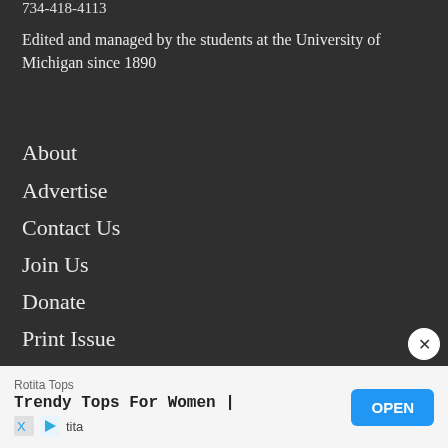734-418-4113
Edited and managed by the students at the University of Michigan since 1890
About
Advertise
Contact Us
Join Us
Donate
Print Issue
Culture, Training and Inclusion
Rotita Tops
Trendy Tops For Women |
rotita
OPEN